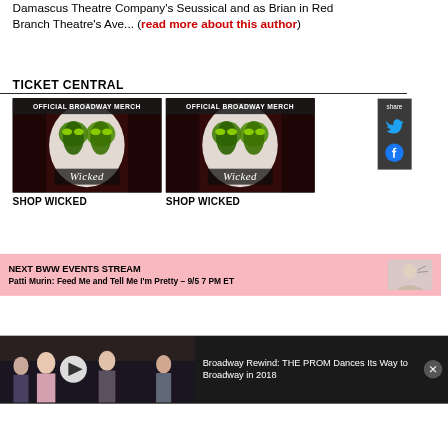Damascus Theatre Company's Seussical and as Brian in Red Branch Theatre's Ave... (read more about this author)
TICKET CENTRAL
[Figure (illustration): Official Broadway Merch - Wicked product image (green witch face on dark background with red curtain, Wicked logo)]
SHOP WICKED
[Figure (illustration): Official Broadway Merch - Wicked product image (green witch face on dark background with red curtain, Wicked logo)]
SHOP WICKED
NEXT BWW EVENTS STREAM
Patti Murin: Feed Me and Tell Me I'm Pretty – 9/5 7 PM ET
[Figure (photo): Broadway Rewind: THE PROM Dances Its Way to Broadway in 2018 - video thumbnail with two women]
Broadway Rewind: THE PROM Dances Its Way to Broadway in 2018